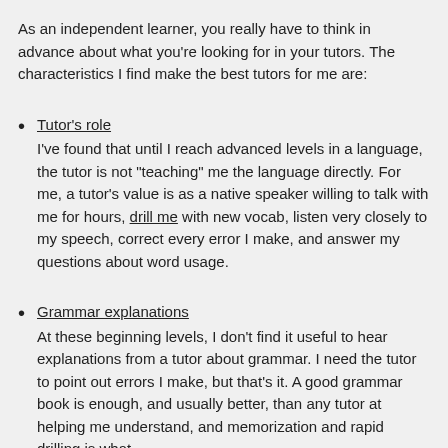As an independent learner, you really have to think in advance about what you're looking for in your tutors. The characteristics I find make the best tutors for me are:
Tutor's role
I've found that until I reach advanced levels in a language, the tutor is not "teaching" me the language directly. For me, a tutor's value is as a native speaker willing to talk with me for hours, drill me with new vocab, listen very closely to my speech, correct every error I make, and answer my questions about word usage.
Grammar explanations
At these beginning levels, I don't find it useful to hear explanations from a tutor about grammar. I need the tutor to point out errors I make, but that's it. A good grammar book is enough, and usually better, than any tutor at helping me understand, and memorization and rapid drilling is what